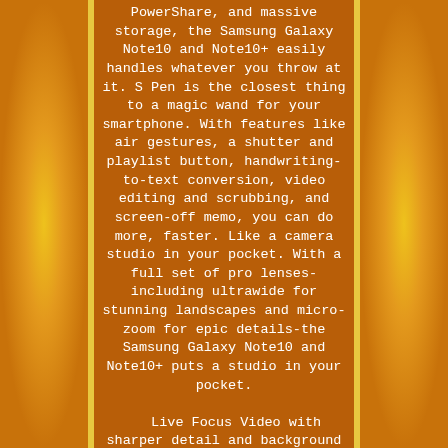PowerShare, and massive storage, the Samsung Galaxy Note10 and Note10+ easily handles whatever you throw at it. S Pen is the closest thing to a magic wand for your smartphone. With features like air gestures, a shutter and playlist button, handwriting-to-text conversion, video editing and scrubbing, and screen-off memo, you can do more, faster. Like a camera studio in your pocket. With a full set of pro lenses-including ultrawide for stunning landscapes and micro-zoom for epic details-the Samsung Galaxy Note10 and Note10+ puts a studio in your pocket.

Live Focus Video with sharper detail and background blurring, precision audio focus, and super-stabilization deliver perfect content every time. Endless screen in an impossibly slim form. A